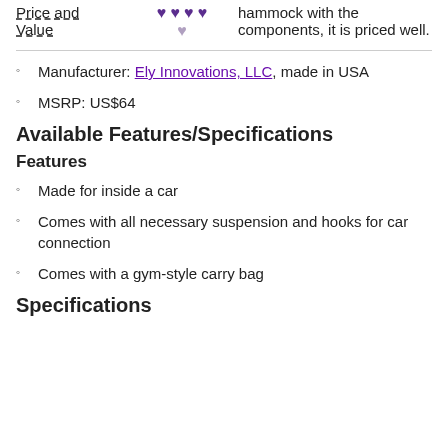| Category | Rating | Description |
| --- | --- | --- |
| Price and Value | ♥ ♥ ♥ ♥ / ♥ | hammock with the components, it is priced well. |
Manufacturer: Ely Innovations, LLC, made in USA
MSRP: US$64
Available Features/Specifications
Features
Made for inside a car
Comes with all necessary suspension and hooks for car connection
Comes with a gym-style carry bag
Specifications